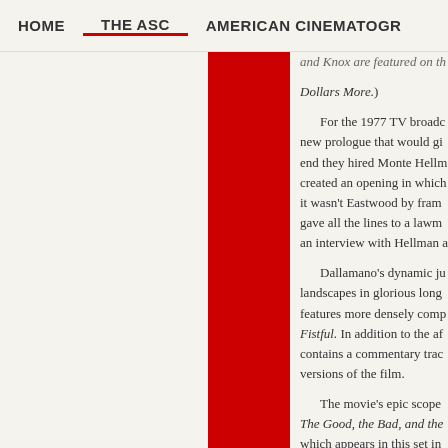HOME   THE ASC   AMERICAN CINEMATOGR
and Knox are featured on th Dollars More.) For the 1977 TV broadc new prologue that would gi end they hired Monte Hellm created an opening in which it wasn't Eastwood by fram gave all the lines to a lawm an interview with Hellman a Dallamano's dynamic ju landscapes in glorious long features more densely comp Fistful. In addition to the af contains a commentary trac versions of the film. The movie's epic scope The Good, the Bad, and the which appears in this set in released in 2004. The highlight of the set release Duck, You Sucker! ( the collaboration between